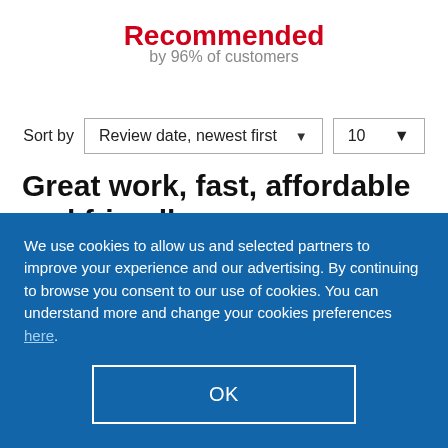Recommended
by 96% of customers
Sort by   Review date, newest first   10
Great work, fast, affordable and friendly.
We use cookies to allow us and selected partners to improve your experience and our advertising. By continuing to browse you consent to our use of cookies. You can understand more and change your cookies preferences here.
OK